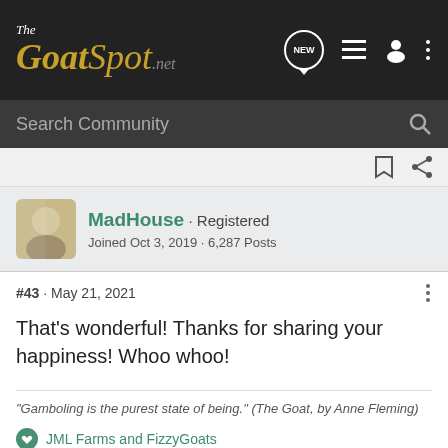The GoatSpot.net
Search Community
MadHouse · Registered
Joined Oct 3, 2019 · 6,287 Posts
#43 · May 21, 2021
That's wonderful! Thanks for sharing your happiness! Whoo whoo!
"Gamboling is the purest state of being." (The Goat, by Anne Fleming)
JML Farms and FizzyGoats